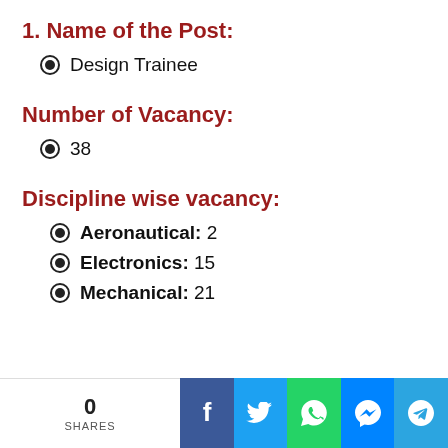1. Name of the Post:
Design Trainee
Number of Vacancy:
38
Discipline wise vacancy:
Aeronautical: 2
Electronics: 15
Mechanical: 21